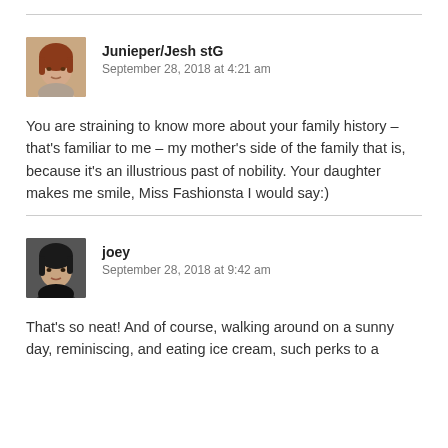[Figure (photo): Avatar photo of Junieper/Jesh stG, a woman with auburn/red hair]
Junieper/Jesh stG
September 28, 2018 at 4:21 am
You are straining to know more about your family history – that's familiar to me – my mother's side of the family that is, because it's an illustrious past of nobility. Your daughter makes me smile, Miss Fashionsta I would say:)
[Figure (photo): Avatar photo of joey, a woman with dark hair]
joey
September 28, 2018 at 9:42 am
That's so neat! And of course, walking around on a sunny day, reminiscing, and eating ice cream, such perks to a